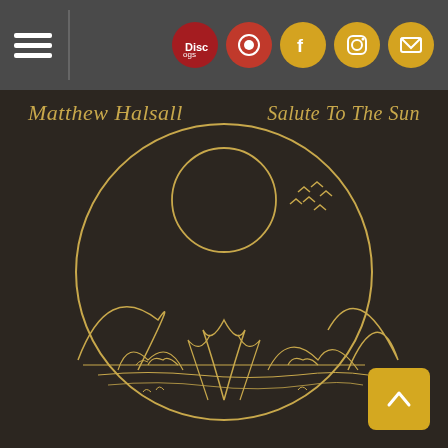Navigation bar with hamburger menu and social icons: Discogs, Bandcamp, Facebook, Instagram, Email
Matthew Halsall
Salute To The Sun
[Figure (illustration): Album artwork for Matthew Halsall 'Salute To The Sun' — dark brown background with a circular golden line illustration depicting mountains, a large sun/moon, birds in flight, and water with small rock formations in the foreground.]